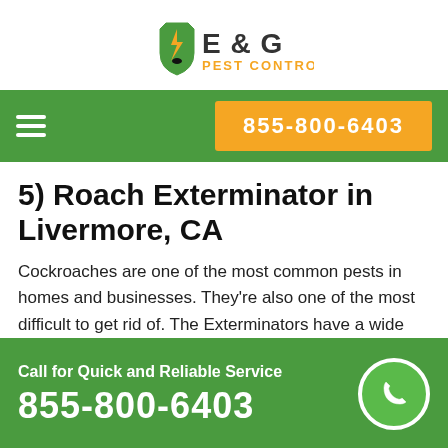[Figure (logo): E & G Pest Control logo — shield with lightning bolt and bug, orange and black text]
855-800-6403
5) Roach Exterminator in Livermore, CA
Cockroaches are one of the most common pests in homes and businesses. They're also one of the most difficult to get rid of. The Exterminators have a wide range of Roach Control Products to help you get rid of
Call for Quick and Reliable Service
855-800-6403